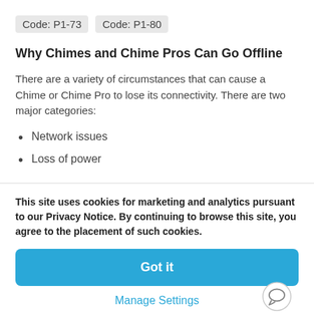Code: P1-73   Code: P1-80
Why Chimes and Chime Pros Can Go Offline
There are a variety of circumstances that can cause a Chime or Chime Pro to lose its connectivity. There are two major categories:
Network issues
Loss of power
This site uses cookies for marketing and analytics pursuant to our Privacy Notice. By continuing to browse this site, you agree to the placement of such cookies.
Got it
Manage Settings